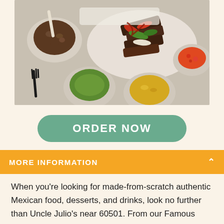[Figure (photo): Overhead view of Mexican food dishes including fajitas with grilled meat, guacamole, rice, beans, and pico de gallo on a table]
ORDER NOW
MORE INFORMATION
When you're looking for made-from-scratch authentic Mexican food, desserts, and drinks, look no further than Uncle Julio's near 60501. From our Famous Fajitas to Tex Mex favorites, each dish is created with fresh, authentic ingredients. Dine-in, carry out, or order delivery and see how we do Tex-Mex differently.